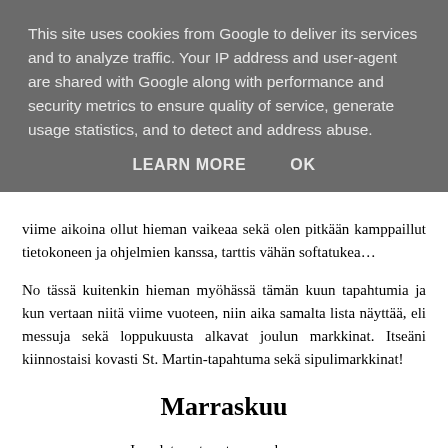This site uses cookies from Google to deliver its services and to analyze traffic. Your IP address and user-agent are shared with Google along with performance and security metrics to ensure quality of service, generate usage statistics, and to detect and address abuse.
LEARN MORE    OK
viime aikoina ollut hieman vaikeaa sekä olen pitkään kamppaillut tietokoneen ja ohjelmien kanssa, tarttis vähän softatukea…
No tässä kuitenkin hieman myöhässä tämän kuun tapahtumia ja kun vertaan niitä viime vuoteen, niin aika samalta lista näyttää, eli messuja sekä loppukuusta alkavat joulun markkinat. Itseäni kiinnostaisi kovasti St. Martin-tapahtuma sekä sipulimarkkinat!
Marraskuu
Jos olet syntynyt marraskuussa,
olet skorpioni tai jousimies.
Näin nyt tarinoi Uppo-Nalle,